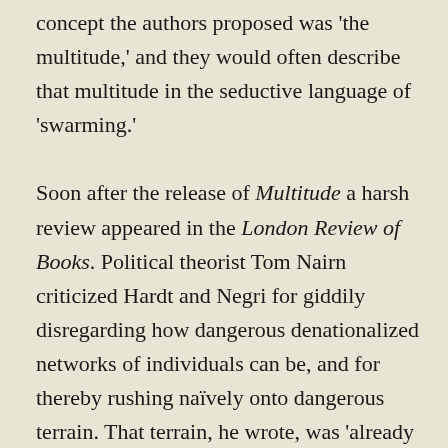concept the authors proposed was 'the multitude,' and they would often describe that multitude in the seductive language of 'swarming.'

Soon after the release of Multitude a harsh review appeared in the London Review of Books. Political theorist Tom Nairn criticized Hardt and Negri for giddily disregarding how dangerous denationalized networks of individuals can be, and for thereby rushing naïvely onto dangerous terrain. That terrain, he wrote, was 'already occupied by fundamentalists of varying hues, all ready with their own formulae for rapture and ecstasy.'[1] Nairn was surely thinking partly of